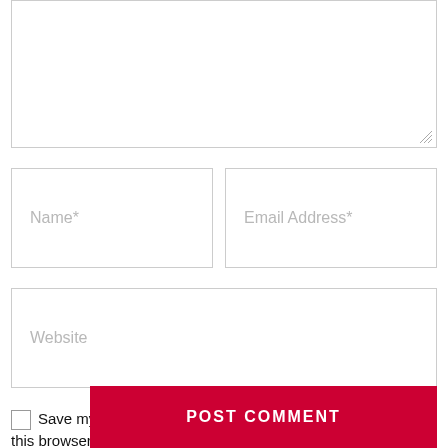[Figure (screenshot): Comment form with textarea, name/email fields, website field, save checkbox, TOP button, and POST COMMENT button]
Name*
Email Address*
Website
Save my name, email, and website in this browser for the next time I comment.
TOP
POST COMMENT